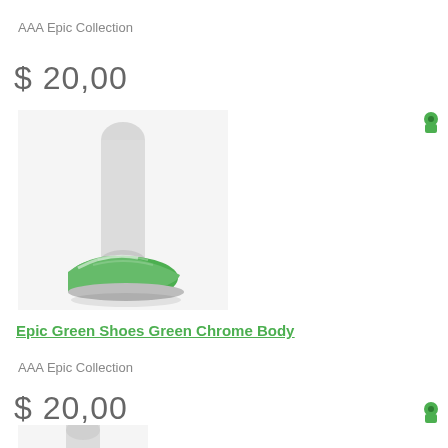AAA Epic Collection
$ 20,00
[Figure (photo): 3D rendered image of a mannequin leg wearing a bright green sneaker shoe against a white background]
Epic Green Shoes Green Chrome Body
AAA Epic Collection
$ 20,00
[Figure (photo): 3D rendered image of a mannequin leg (partial, cropped at bottom), white/grey leg visible against white background]